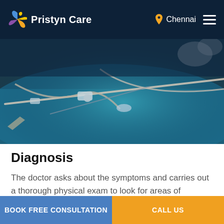Pristyn Care — Chennai
[Figure (photo): Close-up photograph of a surgical procedure showing medical instruments, tubes, and a blue surgical drape on an operating table with gloved hands visible.]
Diagnosis
The doctor asks about the symptoms and carries out a thorough physical exam to look for areas of swelling, discolored skin, and soreness. If the doctor suspects the presence of an underlying blot clot, they ask for certain
BOOK FREE CONSULTATION   CALL US